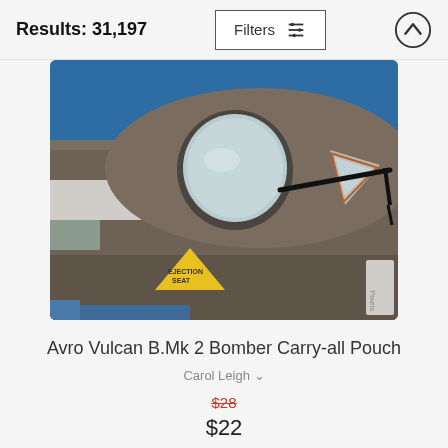Results: 31,197
[Figure (photo): Close-up photo of a military aircraft fuselage (Avro Vulcan B.Mk 2 Bomber) showing cockpit windows including a large circular window and a triangular side window with orange frame, plus 'EJECTION SEAT' warning label in yellow triangle, against a blue sky background.]
Avro Vulcan B.Mk 2 Bomber Carry-all Pouch
Carol Leigh
$28
$22